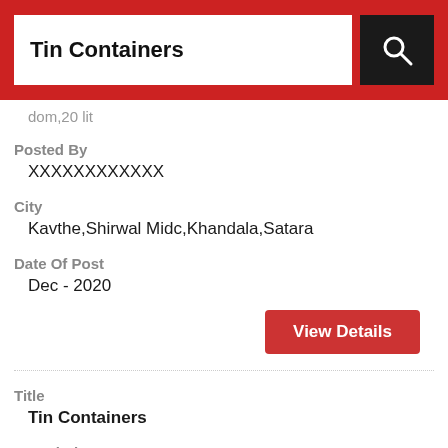Tin Containers
dom,20 lit
Posted By
XXXXXXXXXXXX
City
Kavthe,Shirwal Midc,Khandala,Satara
Date Of Post
Dec - 2020
View Details
Title
Tin Containers
Description